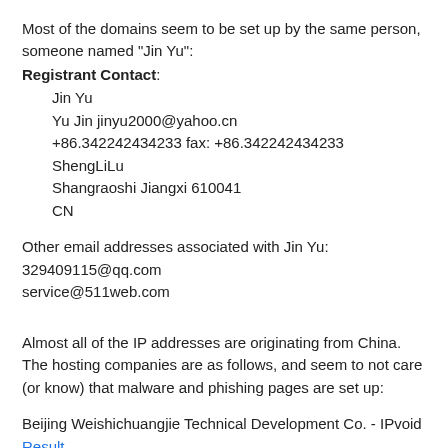Most of the domains seem to be set up by the same person, someone named "Jin Yu":
Registrant Contact:
Jin Yu
Yu Jin jinyu2000@yahoo.cn
+86.342242434233 fax: +86.342242434233
ShengLiLu
Shangraoshi Jiangxi 610041
CN
Other email addresses associated with Jin Yu:
329409115@qq.com
service@511web.com
Almost all of the IP addresses are originating from China. The hosting companies are as follows, and seem to not care (or know) that malware and phishing pages are set up:
Beijing Weishichuangjie Technical Development Co. - IPvoid Result
DEEPAK MEHTA FIE - IPvoid Result